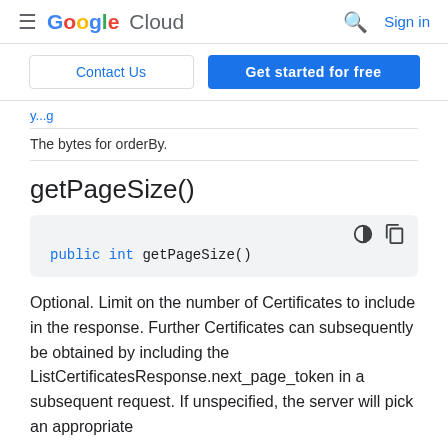Google Cloud — Sign in
Contact Us | Get started for free
The bytes for orderBy.
getPageSize()
public int getPageSize()
Optional. Limit on the number of Certificates to include in the response. Further Certificates can subsequently be obtained by including the ListCertificatesResponse.next_page_token in a subsequent request. If unspecified, the server will pick an appropriate default.